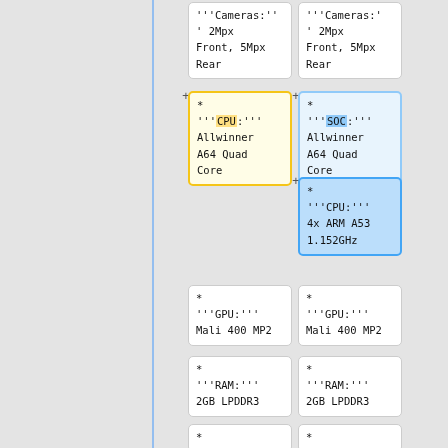'''Cameras:'' 2Mpx Front, 5Mpx Rear
'''Cameras:'' 2Mpx Front, 5Mpx Rear
* '''CPU:''' Allwinner A64 Quad Core
* '''SOC:''' Allwinner A64 Quad Core
* '''CPU:''' 4x ARM A53 1.152GHz
* '''GPU:''' Mali 400 MP2
* '''GPU:''' Mali 400 MP2
* '''RAM:''' 2GB LPDDR3
* '''RAM:''' 2GB LPDDR3
*
*